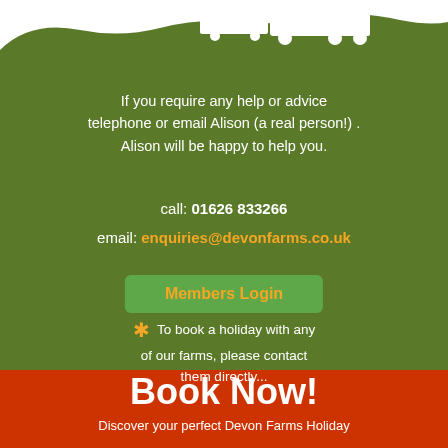[Figure (illustration): A green farm scene with a white silhouette of a tractor and farm buildings at the top of the page against a white background, with a wavy green edge]
If you require any help or advice telephone or email Alison (a real person!) . Alison will be happy to help you.
call: 01626 833266
email: enquiries@devonfarms.co.uk
Members Login
* To book a holiday with any of our farms, please contact them directly...
Book Now!
Discover your perfect Devon Farms Holiday